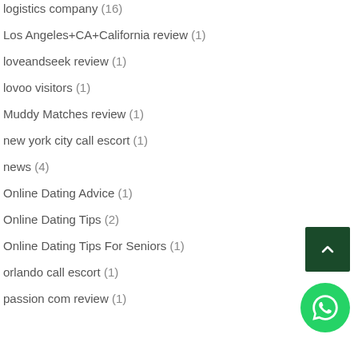logistics company (16)
Los Angeles+CA+California review (1)
loveandseek review (1)
lovoo visitors (1)
Muddy Matches review (1)
new york city call escort (1)
news (4)
Online Dating Advice (1)
Online Dating Tips (2)
Online Dating Tips For Seniors (1)
orlando call escort (1)
passion com review (1)